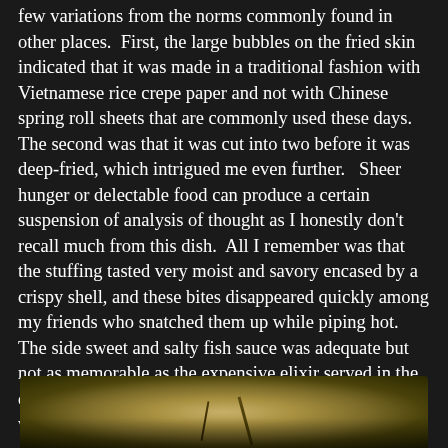few variations from the norms commonly found in other places.  First, the large bubbles on the fried skin indicated that it was made in a traditional fashion with Vietnamese rice crepe paper and not with Chinese spring roll sheets that are commonly used these days.  The second was that it was cut into two before it was deep-fried, which intrigued me even further.   Sheer hunger or delectable food can produce a certain suspension of analysis of thought as I honestly don't recall much from this dish.  All I remember was that the stuffing tasted very moist and savory encased by a crispy shell, and these bites disappeared quickly among my friends who snatched them up while piping hot.  The side sweet and salty fish sauce was adequate but not as memorable as the expensive elixir served in the defunct Green Papaya restaurant.   However, this dish was worth a moment of relapse during dinner.
[Figure (photo): Close-up photo of food, partially visible at the bottom of the page, showing what appears to be a dish with green garnish or stem elements against a warm golden-brown background.]